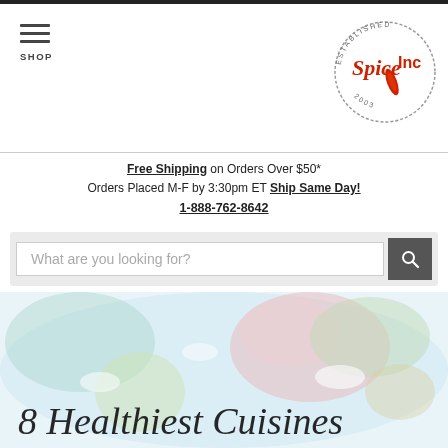SHOP | Spice Inc logo
Free Shipping on Orders Over $50* Orders Placed M-F by 3:30pm ET Ship Same Day! 1-888-762-8642
[Figure (screenshot): Search bar with placeholder text 'What are you looking for?' and a search icon button]
[Figure (illustration): Colorful watercolor world map banner with italic script text reading '8 Healthiest Cuisines']